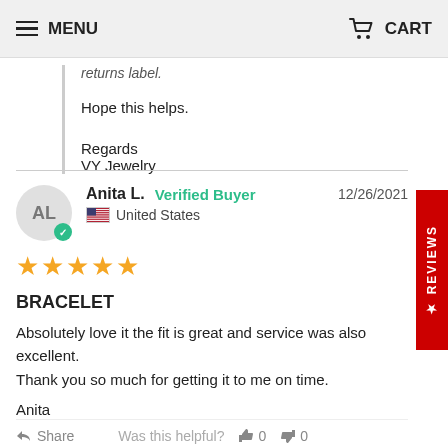MENU   CART
returns label.

Hope this helps.

Regards
VY Jewelry
Anita L.   Verified Buyer   12/26/2021
United States
★★★★★
BRACELET
Absolutely love it the fit is great and service was also excellent.
Thank you so much for getting it to me on time.

Anita
Share   Was this helpful?  👍 0  👎 0